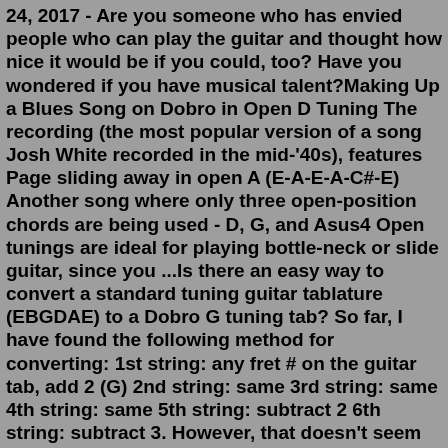24, 2017 - Are you someone who has envied people who can play the guitar and thought how nice it would be if you could, too? Have you wondered if you have musical talent?Making Up a Blues Song on Dobro in Open D Tuning The recording (the most popular version of a song Josh White recorded in the mid-'40s), features Page sliding away in open A (E-A-E-A-C#-E) Another song where only three open-position chords are being used - D, G, and Asus4 Open tunings are ideal for playing bottle-neck or slide guitar, since you ...Is there an easy way to convert a standard tuning guitar tablature (EBGDAE) to a Dobro G tuning tab? So far, I have found the following method for converting: 1st string: any fret # on the guitar tab, add 2 (G) 2nd string: same 3rd string: same 4th string: same 5th string: subtract 2 6th string: subtract 3. However, that doesn't seem to make ...I have written out (in Tablature), and teach you how to play 119 Chord For The Dobro®.. In standard tuning, your six strings are tuned like this,